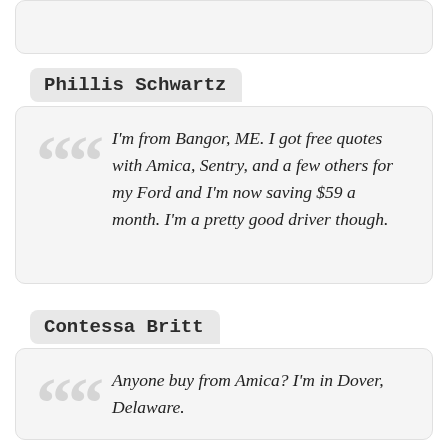Phillis Schwartz
I'm from Bangor, ME. I got free quotes with Amica, Sentry, and a few others for my Ford and I'm now saving $59 a month. I'm a pretty good driver though.
Contessa Britt
Anyone buy from Amica? I'm in Dover, Delaware.